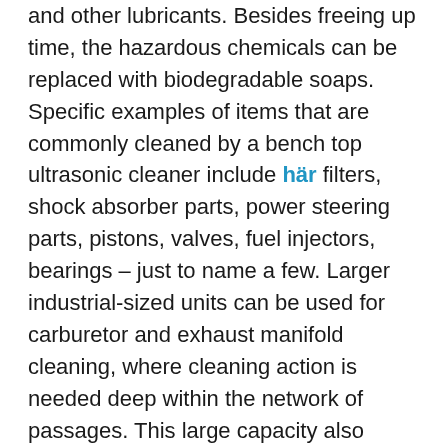and other lubricants. Besides freeing up time, the hazardous chemicals can be replaced with biodegradable soaps. Specific examples of items that are commonly cleaned by a bench top ultrasonic cleaner include här filters, shock absorber parts, power steering parts, pistons, valves, fuel injectors, bearings – just to name a few. Larger industrial-sized units can be used for carburetor and exhaust manifold cleaning, where cleaning action is needed deep within the network of passages. This large capacity also allows for crankshaft and the cylinder block can be cleaned as well the means to clean multiple parts at once.
For marine mechanics, it can clean virtually any part within minutes and also provides an alternative to using toxic cleaning agents. When cleaning marine inboard and outboard motors, a solution that is both thorough and gentle is necessary because many parts are made